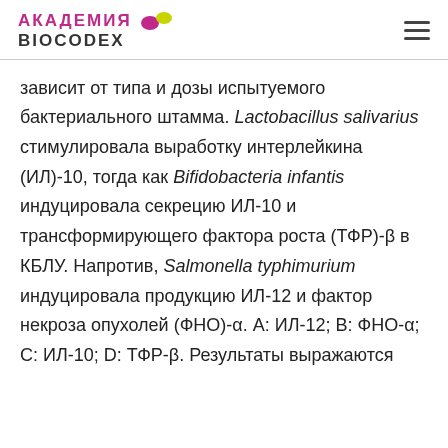АКАДЕМИЯ BIOCODEX
зависит от типа и дозы испытуемого бактериального штамма. Lactobacillus salivarius стимулировала выработку интерлейкина (ИЛ)-10, тогда как Bifidobacteria infantis индуцировала секрецию ИЛ-10 и трансформирующего фактора роста (ТФР)-β в КБЛУ. Напротив, Salmonella typhimurium индуцировала продукцию ИЛ-12 и фактор некроза опухолей (ФНО)-α. А: ИЛ-12; В: ФНО-α; С: ИЛ-10; D: ТФР-β. Результаты выражаются